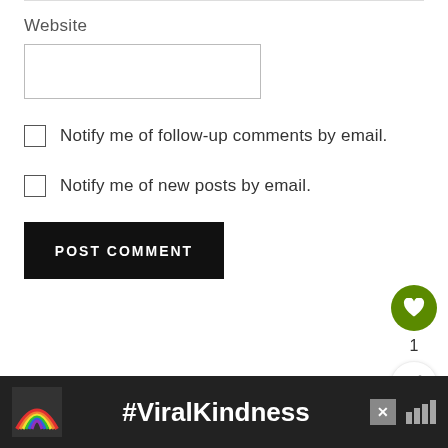Website
Notify me of follow-up comments by email.
Notify me of new posts by email.
POST COMMENT
1
AWARDS
[Figure (logo): Red and yellow V-shaped award logo]
[Figure (infographic): Dark advertisement banner with rainbow graphic and #ViralKindness text]